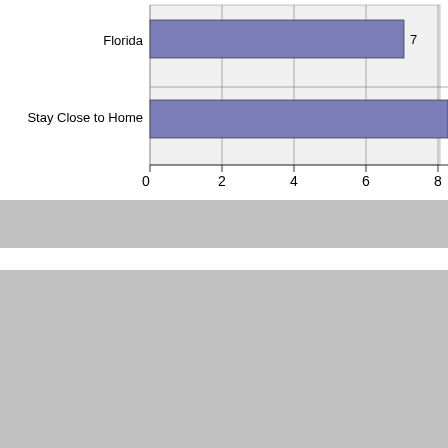[Figure (bar-chart): Partial horizontal bar chart]